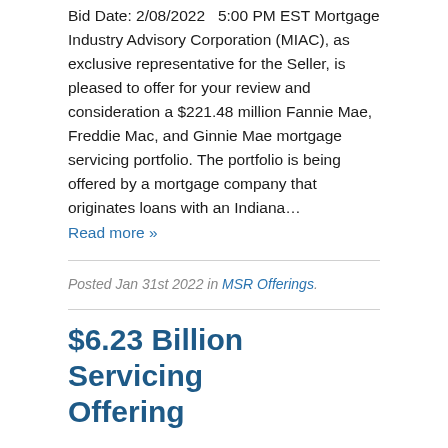Bid Date: 2/08/2022   5:00 PM EST Mortgage Industry Advisory Corporation (MIAC), as exclusive representative for the Seller, is pleased to offer for your review and consideration a $221.48 million Fannie Mae, Freddie Mac, and Ginnie Mae mortgage servicing portfolio. The portfolio is being offered by a mortgage company that originates loans with an Indiana…
Read more »
Posted Jan 31st 2022 in MSR Offerings.
$6.23 Billion Servicing Offering